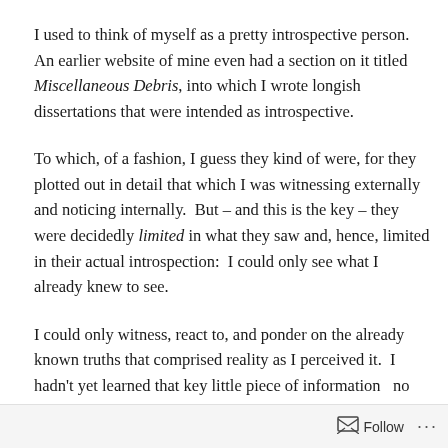I used to think of myself as a pretty introspective person. An earlier website of mine even had a section on it titled Miscellaneous Debris, into which I wrote longish dissertations that were intended as introspective.
To which, of a fashion, I guess they kind of were, for they plotted out in detail that which I was witnessing externally and noticing internally.  But – and this is the key – they were decidedly limited in what they saw and, hence, limited in their actual introspection:  I could only see what I already knew to see.
I could only witness, react to, and ponder on the already known truths that comprised reality as I perceived it.  I hadn't yet learned that key little piece of information   no
Follow